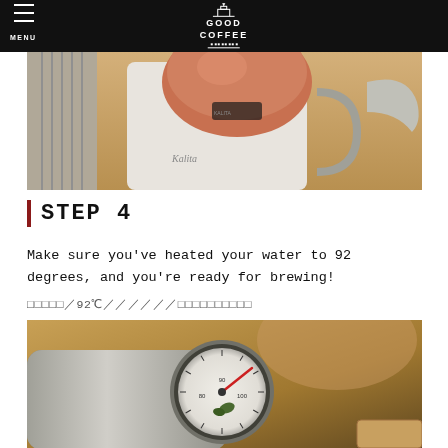MENU | GOOD COFFEE
[Figure (photo): Close-up photo of a copper and white pour-over kettle (Kalita brand) on a wooden surface]
STEP 4
Make sure you've heated your water to 92 degrees, and you're ready for brewing!
お湯の温度／92℃に沸かしたお湯／を使用してください
[Figure (photo): Close-up photo of a thermometer gauge on a metal kettle showing temperature, on a wooden surface]